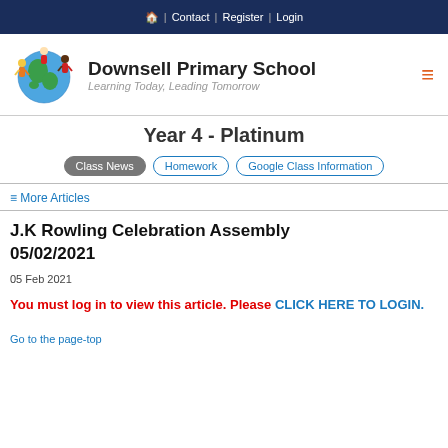🏠 | Contact | Register | Login
[Figure (logo): Downsell Primary School logo: children around a globe]
Downsell Primary School — Learning Today, Leading Tomorrow
Year 4 - Platinum
Class News | Homework | Google Class Information
≡ More Articles
J.K Rowling Celebration Assembly 05/02/2021
05 Feb 2021
You must log in to view this article. Please CLICK HERE TO LOGIN.
Go to the page-top